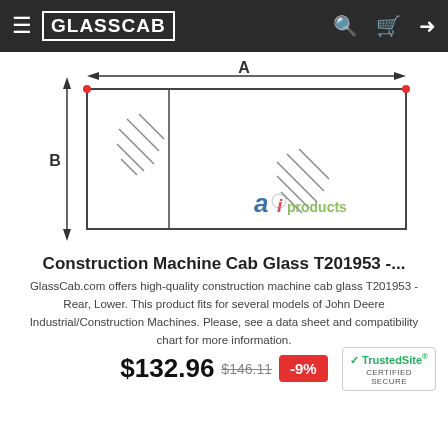GLASSCAB
[Figure (engineering-diagram): Technical diagram of a rectangular glass panel with dimension labels A (width) and B (height). The glass is shown with two hatched sections indicating the glass material. Arrows show the A dimension across the top and B dimension along the left side. An 'ai products' watermark logo appears at the bottom right of the diagram.]
Construction Machine Cab Glass T201953 -...
GlassCab.com offers high-quality construction machine cab glass T201953 - Rear, Lower. This product fits for several models of John Deere Industrial/Construction Machines. Please, see a data sheet and compatibility chart for more information.
$132.96 $146.11 -9%